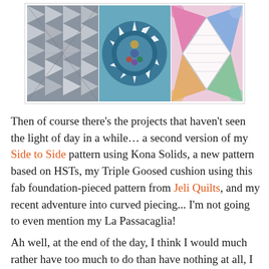[Figure (photo): Three quilt block photos side by side: left shows gray/white triangle pattern (flying geese), center shows a circular starburst medallion in teal/blue tones, right shows colorful curved diamond pattern in pink/multicolor fabrics.]
Then of course there's the projects that haven't seen the light of day in a while… a second version of my Side to Side pattern using Kona Solids, a new pattern based on HSTs, my Triple Goosed cushion using this fab foundation-pieced pattern from Jeli Quilts, and my recent adventure into curved piecing... I'm not going to even mention my La Passacaglia!
Ah well, at the end of the day, I think I would much rather have too much to do than have nothing at all, I know these projects will get finished one day, just